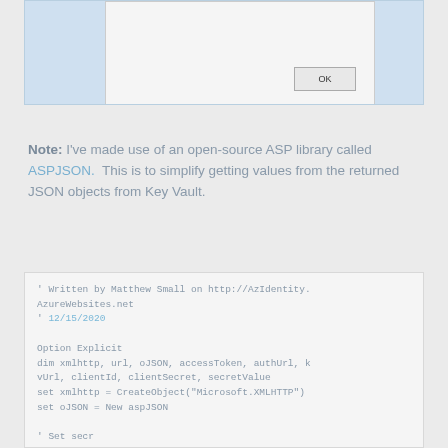[Figure (screenshot): A dialog box with an OK button on a light blue background]
Note: I've made use of an open-source ASP library called ASPJSON. This is to simplify getting values from the returned JSON objects from Key Vault.
' Written by Matthew Small on http://AzIdentity.AzureWebsites.net
' 12/15/2020

Option Explicit
dim xmlhttp, url, oJSON, accessToken, authUrl, kvUrl, clientId, clientSecret, secretValue
set xmlhttp = CreateObject("Microsoft.XMLHTTP")
set oJSON = New aspJSON

' Set secretName